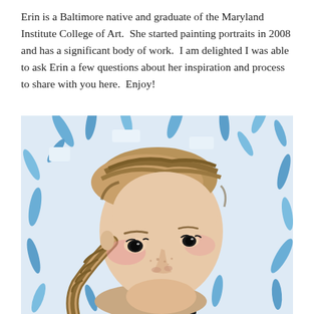Erin is a Baltimore native and graduate of the Maryland Institute College of Art.  She started painting portraits in 2008 and has a significant body of work.  I am delighted I was able to ask Erin a few questions about her inspiration and process to share with you here.  Enjoy!
[Figure (illustration): A painted portrait of a young girl with braided hair lying on a blue and white floral/leaf-patterned background. The girl has freckles, dark eyes, and red lips, rendered in a painterly oil-painting style.]